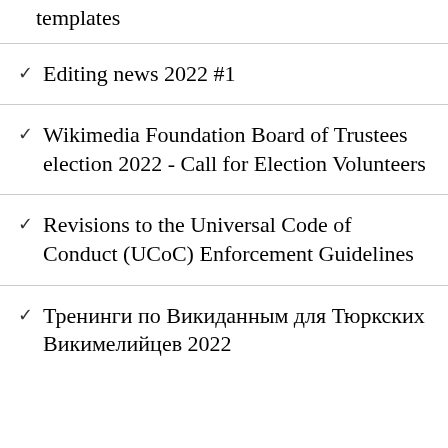templates
Editing news 2022 #1
Wikimedia Foundation Board of Trustees election 2022 - Call for Election Volunteers
Revisions to the Universal Code of Conduct (UCoC) Enforcement Guidelines
Тренинги по Викиданным для Тюркских Викимелийцев 2022